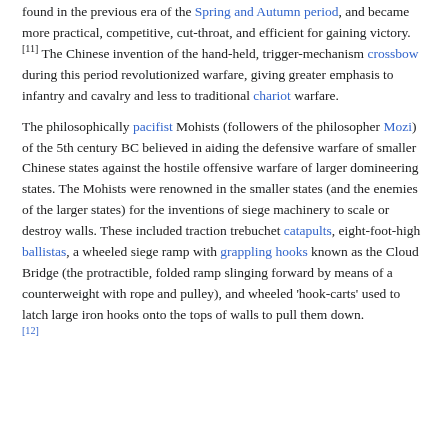found in the previous era of the Spring and Autumn period, and became more practical, competitive, cut-throat, and efficient for gaining victory.[11] The Chinese invention of the hand-held, trigger-mechanism crossbow during this period revolutionized warfare, giving greater emphasis to infantry and cavalry and less to traditional chariot warfare.
The philosophically pacifist Mohists (followers of the philosopher Mozi) of the 5th century BC believed in aiding the defensive warfare of smaller Chinese states against the hostile offensive warfare of larger domineering states. The Mohists were renowned in the smaller states (and the enemies of the larger states) for the inventions of siege machinery to scale or destroy walls. These included traction trebuchet catapults, eight-foot-high ballistas, a wheeled siege ramp with grappling hooks known as the Cloud Bridge (the protractible, folded ramp slinging forward by means of a counterweight with rope and pulley), and wheeled 'hook-carts' used to latch large iron hooks onto the tops of walls to pull them down.[12]